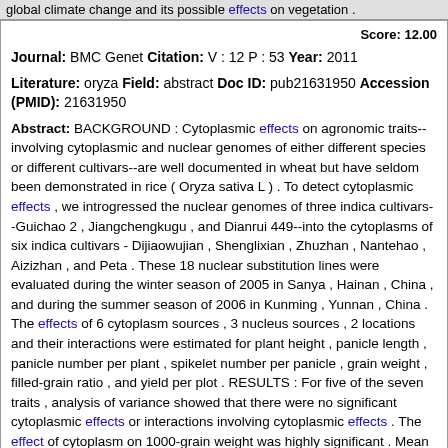global climate change and its possible effects on vegetation .
Score: 12.00
Journal: BMC Genet Citation: V : 12 P : 53 Year: 2011
Literature: oryza Field: abstract Doc ID: pub21631950 Accession (PMID): 21631950
Abstract: BACKGROUND : Cytoplasmic effects on agronomic traits--involving cytoplasmic and nuclear genomes of either different species or different cultivars--are well documented in wheat but have seldom been demonstrated in rice ( Oryza sativa L ) . To detect cytoplasmic effects , we introgressed the nuclear genomes of three indica cultivars--Guichao 2 , Jiangchengkugu , and Dianrui 449--into the cytoplasms of six indica cultivars - Dijiaowujian , Shenglixian , Zhuzhan , Nantehao , Aizizhan , and Peta . These 18 nuclear substitution lines were evaluated during the winter season of 2005 in Sanya , Hainan , China , and during the summer season of 2006 in Kunming , Yunnan , China . The effects of 6 cytoplasm sources , 3 nucleus sources , 2 locations and their interactions were estimated for plant height , panicle length , panicle number per plant , spikelet number per panicle , grain weight , filled-grain ratio , and yield per plot . RESULTS : For five of the seven traits , analysis of variance showed that there were no significant cytoplasmic effects or interactions involving cytoplasmic effects . The effect of cytoplasm on 1000-grain weight was highly significant . Mean 1000-grain weight over the two locations in four of the six cytoplasms clustered close to the overall mean , whereas plants with Nantehao cytoplasm had a high , and those with Peta cytoplasm a low mean grain weight . There was a highly significant three-way interaction affecting filled-grain ratio . At Sanya , cytoplasms varied in very narrow ranges within nuclear backgrounds . Strong cytoplasmic effects were observed only at Kunming and in only two of the three nuclear backgrounds ; in the